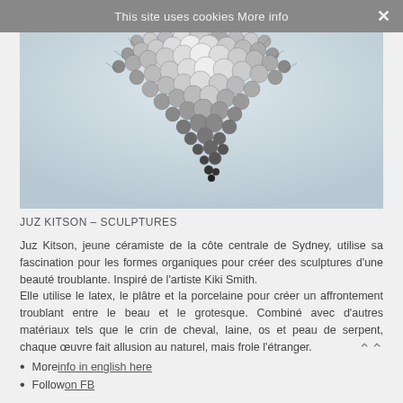This site uses cookies More info ✕
[Figure (photo): Close-up photograph of a sculpture made of metallic silver beads/spheres clustered together in a downward-pointing triangular shape against a pale blue-grey background.]
JUZ KITSON – SCULPTURES
Juz Kitson, jeune céramiste de la côte centrale de Sydney, utilise sa fascination pour les formes organiques pour créer des sculptures d'une beauté troublante. Inspiré de l'artiste Kiki Smith.
Elle utilise le latex, le plâtre et la porcelaine pour créer un affrontement troublant entre le beau et le grotesque. Combiné avec d'autres matériaux tels que le crin de cheval, laine, os et peau de serpent, chaque œuvre fait allusion au naturel, mais frole l'étranger.
More info in english here
Follow on FB